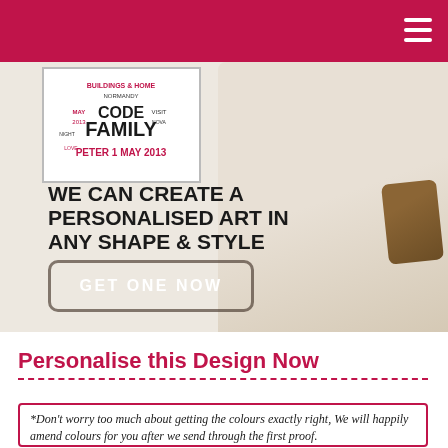[Figure (photo): A promotional banner image showing a framed personalised art print with words like FAMILY, PETER, 1 MAY 2013, BUILDINGS, LOVE etc. in various fonts and colours (red and black), placed in an interior setting with a cream sofa and brown pillow. Bold headline reads: WE CAN CREATE A PERSONALISED ART IN ANY SHAPE & STYLE. A button reads: GET ONE NOW.]
Personalise this Design Now
*Don't worry too much about getting the colours exactly right, We will happily amend colours for you after we send through the first proof.